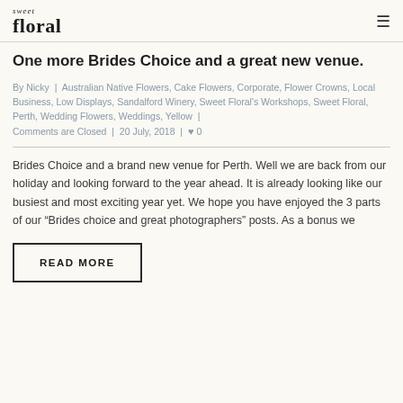sweet floral
One more Brides Choice and a great new venue.
By Nicky | Australian Native Flowers, Cake Flowers, Corporate, Flower Crowns, Local Business, Low Displays, Sandalford Winery, Sweet Floral's Workshops, Sweet Floral, Perth, Wedding Flowers, Weddings, Yellow | Comments are Closed | 20 July, 2018 | ♥ 0
Brides Choice and a brand new venue for Perth. Well we are back from our holiday and looking forward to the year ahead. It is already looking like our busiest and most exciting year yet. We hope you have enjoyed the 3 parts of our “Brides choice and great photographers” posts. As a bonus we
READ MORE